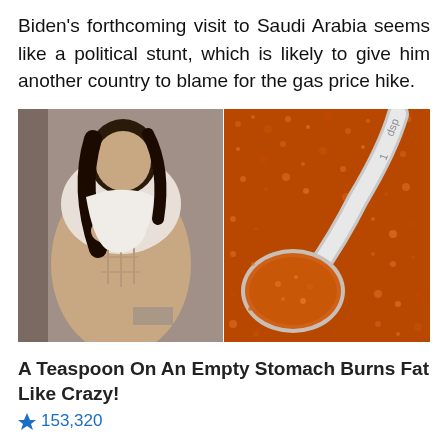Biden's forthcoming visit to Saudi Arabia seems like a political stunt, which is likely to give him another country to blame for the gas price hike.
[Figure (photo): Split image: left side shows a fit woman in a white crop top showing her toned abdomen; right side shows a silver measuring spoon filled with orange/red spice (cayenne or similar) on a bed of the same spice]
A Teaspoon On An Empty Stomach Burns Fat Like Crazy!
🔥 153,320